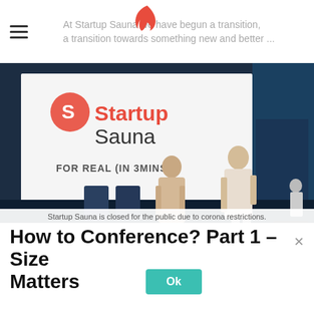At Startup Sauna we have begun a transition, a transition towards something new and better ...
[Figure (photo): Two women in white robes standing on a stage in front of a large screen showing 'Startup Sauna FOR REAL (IN 3MINS...)' logo, with audience silhouettes in the foreground and Slush branding visible.]
Startup Sauna is closed for the public due to corona restrictions.
How to Conference? Part 1 – Size Matters